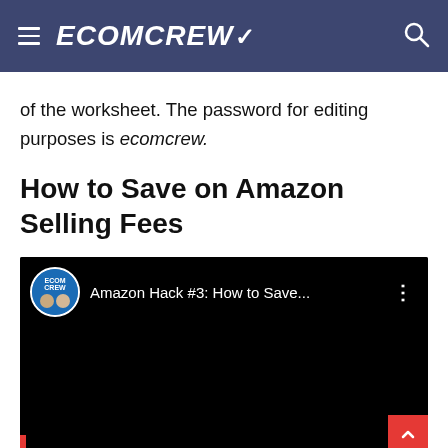ECOMCREW
of the worksheet. The password for editing purposes is ecomcrew.
How to Save on Amazon Selling Fees
[Figure (screenshot): YouTube video thumbnail showing EcomCrew channel avatar with two men and text 'Amazon Hack #3: How to Save...' on a black background]